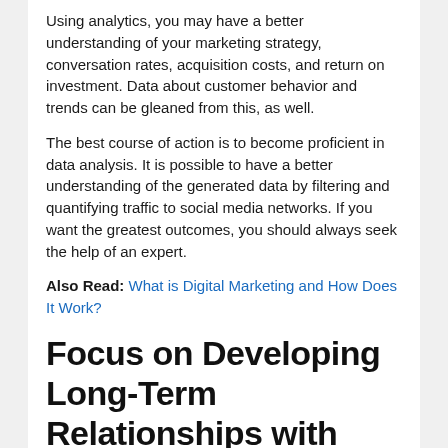Using analytics, you may have a better understanding of your marketing strategy, conversation rates, acquisition costs, and return on investment. Data about customer behavior and trends can be gleaned from this, as well.
The best course of action is to become proficient in data analysis. It is possible to have a better understanding of the generated data by filtering and quantifying traffic to social media networks. If you want the greatest outcomes, you should always seek the help of an expert.
Also Read: What is Digital Marketing and How Does It Work?
Focus on Developing Long-Term Relationships with Customers
You may build a strong fan following if you form strong and authentic ties with your clients. In order to better understand your consumers' demands, it can be beneficial to communicate and connect with them. In order to meet the needs of your clients,